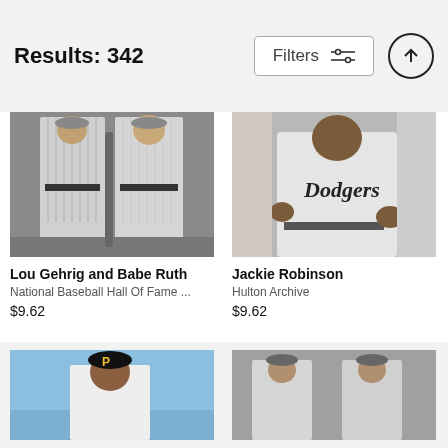Results: 342
[Figure (photo): Black and white photo of Lou Gehrig and Babe Ruth in Yankees pinstripe uniforms standing together]
Lou Gehrig and Babe Ruth
National Baseball Hall Of Fame ...
$9.62
[Figure (photo): Black and white photo of Jackie Robinson in Dodgers uniform]
Jackie Robinson
Hulton Archive
$9.62
[Figure (photo): Color photo of a baseball player with Pittsburgh Pirates cap, partially cropped at bottom]
[Figure (photo): Black and white photo of two baseball players, partially cropped at bottom]